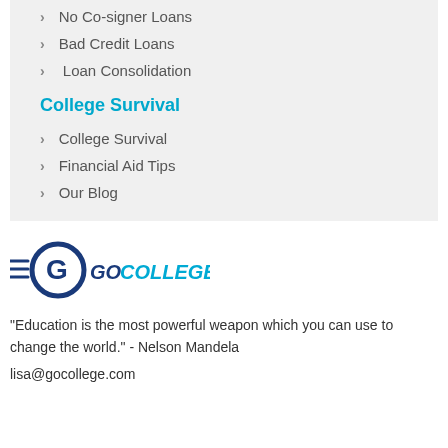No Co-signer Loans
Bad Credit Loans
Loan Consolidation
College Survival
College Survival
Financial Aid Tips
Our Blog
[Figure (logo): GoCollege logo with stylized G icon and horizontal lines, next to text GOCOLLEGE in blue]
"Education is the most powerful weapon which you can use to change the world." - Nelson Mandela
lisa@gocollege.com